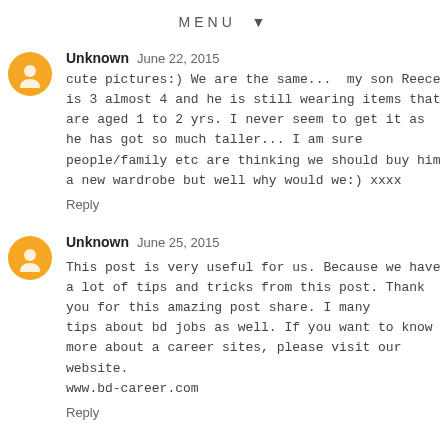MENU ▼
Unknown  June 22, 2015
cute pictures:) We are the same...  my son Reece is 3 almost 4 and he is still wearing items that are aged 1 to 2 yrs. I never seem to get it as he has got so much taller... I am sure people/family etc are thinking we should buy him a new wardrobe but well why would we:) xxxx
Reply
Unknown  June 25, 2015
This post is very useful for us. Because we have a lot of tips and tricks from this post. Thank you for this amazing post share. I many tips about bd jobs as well. If you want to know more about a career sites, please visit our website.
www.bd-career.com
Reply